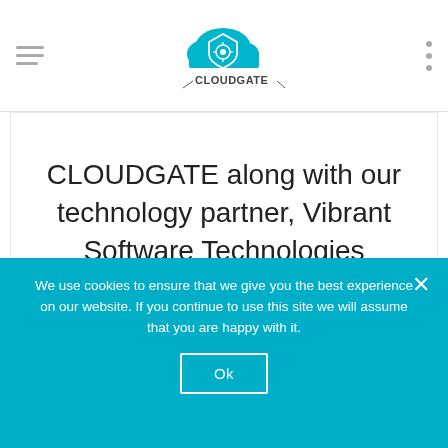[Figure (logo): CloudGate logo with cloud and shield icon in teal/blue, with text CLOUDGATE below]
CLOUDGATE along with our technology partner, Vibrant Software Technologies specialises in App
VIEW DETAILS
We use cookies to ensure that we give you the best experience on our website. If you continue to use this site we will assume that you are happy with it.
Ok